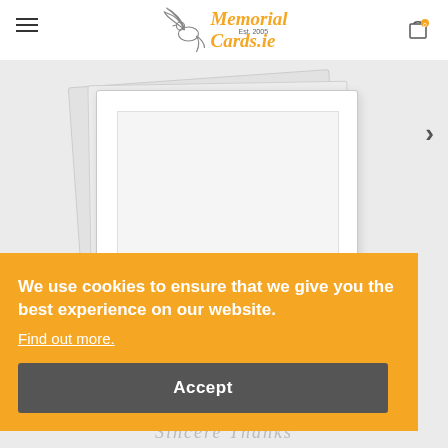[Figure (logo): MemorialCards.ie logo with dove icon and orange italic text, Est. 2005]
[Figure (photo): White greeting/memorial cards fanned out on a light grey background, with 'Sincere Thanks' text visible at bottom]
We use cookies to ensure that we give you the best experience on our website.
Find out more.
Accept